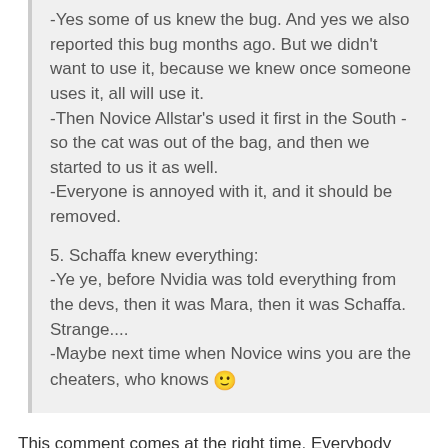-Yes some of us knew the bug. And yes we also reported this bug months ago. But we didn't want to use it, because we knew once someone uses it, all will use it.
-Then Novice Allstar's used it first in the South - so the cat was out of the bag, and then we started to us it as well.
-Everyone is annoyed with it, and it should be removed.

5. Schaffa knew everything:
-Ye ye, before Nvidia was told everything from the devs, then it was Mara, then it was Schaffa. Strange....
-Maybe next time when Novice wins you are the cheaters, who knows 🙂
This comment comes at the right time. Everybody should appreciate it, or at least, the effort to writte an opinion from one of the best players.